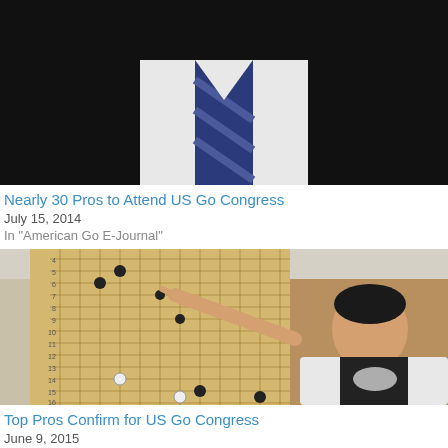[Figure (photo): Close-up photo of a person in a black suit and white shirt with a blue striped tie, cropped at the neck/chest area.]
Nearly 30 Pros to Attend US Go Congress
July 15, 2014
In "American Go E-Journal"
[Figure (photo): A woman in a white jacket pointing at a large go board (goban) mounted on the wall, with black stones placed on it. The board shows row numbers 4 through 17 on the left side.]
Top Pros Confirm for US Go Congress
June 9, 2015